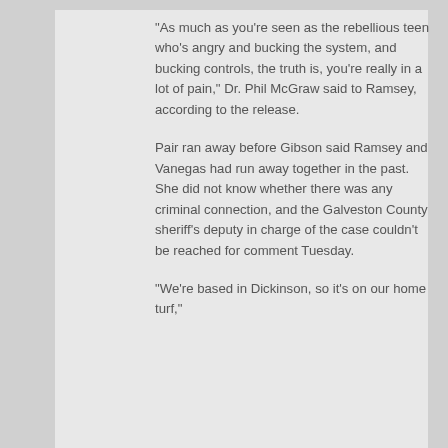"As much as you're seen as the rebellious teen who's angry and bucking the system, and bucking controls, the truth is, you're really in a lot of pain," Dr. Phil McGraw said to Ramsey, according to the release.
Pair ran away before Gibson said Ramsey and Vanegas had run away together in the past. She did not know whether there was any criminal connection, and the Galveston County sheriff's deputy in charge of the case couldn't be reached for comment Tuesday.
"We're based in Dickinson, so it's on our home turf,"